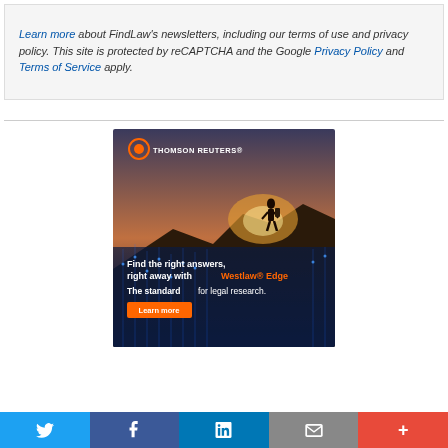Learn more about FindLaw's newsletters, including our terms of use and privacy policy. This site is protected by reCAPTCHA and the Google Privacy Policy and Terms of Service apply.
[Figure (illustration): Thomson Reuters / Westlaw Edge advertisement banner. Shows a silhouette of a person standing on a mountain top at sunset. Text reads: 'Find the right answers, right away with Westlaw® Edge. The standard for legal research.' with a Learn more button. Thomson Reuters logo at top left.]
Social share bar with Twitter, Facebook, LinkedIn, Email, and More buttons